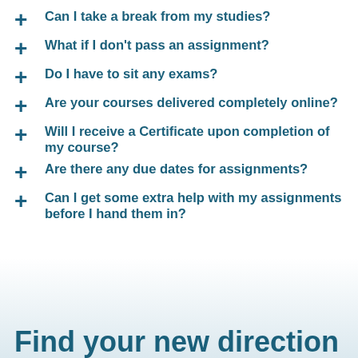Can I take a break from my studies?
What if I don't pass an assignment?
Do I have to sit any exams?
Are your courses delivered completely online?
Will I receive a Certificate upon completion of my course?
Are there any due dates for assignments?
Can I get some extra help with my assignments before I hand them in?
Find your new direction